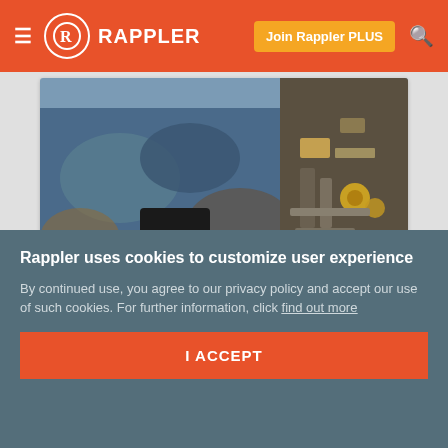Rappler — Join Rappler PLUS
[Figure (photo): Blue rusted ferry hull with debris and equipment visible — Sewol salvage operation photo]
South Korea's Sewol ferry lifted onto salvage ship
Mar 24, 2017 - 1:21 PM
UPDATED The Sewol is likely to be docked at Mokpo early April where the wreck will be searched for bodies.
Rappler uses cookies to customize user experience
By continued use, you agree to our privacy policy and accept our use of such cookies. For further information, click find out more
I ACCEPT